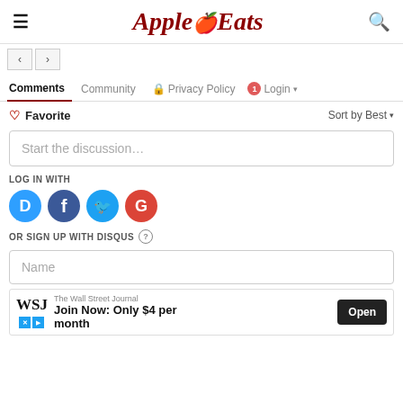Apple Eats (logo with hamburger menu and search icon)
[Figure (screenshot): Navigation arrows (back and forward buttons)]
Comments | Community | Privacy Policy | 1 | Login
♡ Favorite | Sort by Best ▼
Start the discussion...
LOG IN WITH
[Figure (infographic): Social login icons: Disqus (D), Facebook (f), Twitter bird, Google (G)]
OR SIGN UP WITH DISQUS ?
Name
[Figure (screenshot): WSJ advertisement: The Wall Street Journal - Join Now: Only $4 per month - Open button]